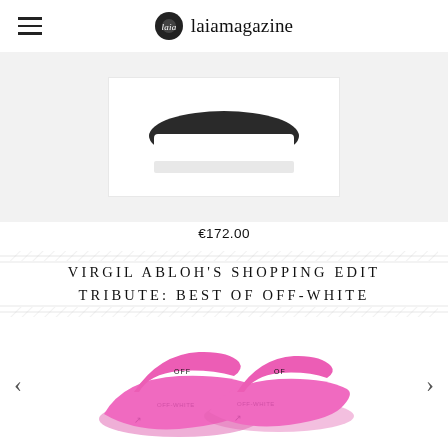laiamagazine
[Figure (photo): Partial product image, white background, appears to be a shoe or sneaker bottom, cropped at top of view]
€172.00
VIRGIL ABLOH'S SHOPPING EDIT TRIBUTE: BEST OF OFF-WHITE
[Figure (photo): Bright pink Off-White slide sandals with 'OFF' text visible on the strap, photographed from a slight angle on white background]